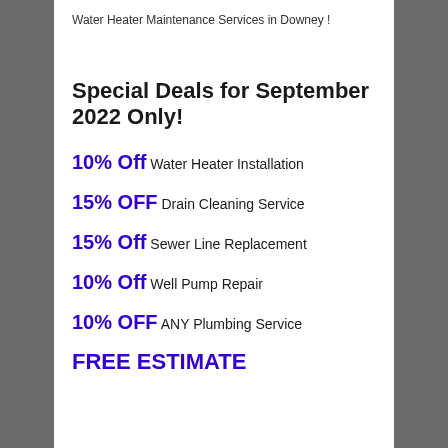Water Heater Maintenance Services in Downey !
Special Deals for September 2022 Only!
10% Off Water Heater Installation
15% OFF Drain Cleaning Service
15% Off Sewer Line Replacement
10% Off Well Pump Repair
10% OFF ANY Plumbing Service
FREE ESTIMATE